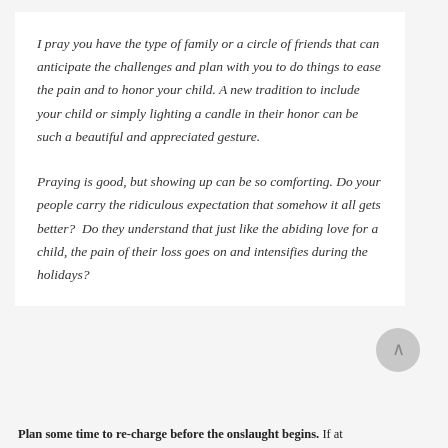I pray you have the type of family or a circle of friends that can anticipate the challenges and plan with you to do things to ease the pain and to honor your child. A new tradition to include your child or simply lighting a candle in their honor can be such a beautiful and appreciated gesture.
Praying is good, but showing up can be so comforting. Do your people carry the ridiculous expectation that somehow it all gets better?  Do they understand that just like the abiding love for a child, the pain of their loss goes on and intensifies during the holidays?
Plan some time to re-charge before the onslaught begins. If at